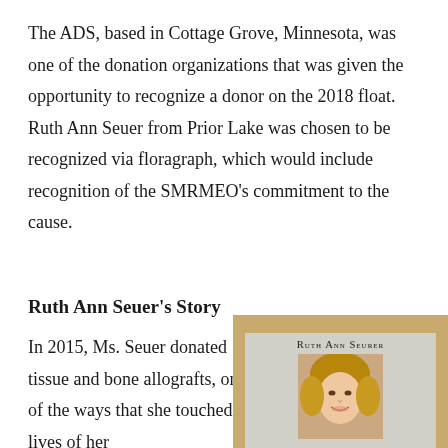The ADS, based in Cottage Grove, Minnesota, was one of the donation organizations that was given the opportunity to recognize a donor on the 2018 float. Ruth Ann Seuer from Prior Lake was chosen to be recognized via floragraph, which would include recognition of the SMRMEO's commitment to the cause.
Ruth Ann Seuer's Story
In 2015, Ms. Seuer donated tissue and bone allografts, one of the ways that she touched the lives of her...
[Figure (photo): A framed photograph of Ruth Ann Seurer with her name printed in small caps above the photo, set in a tan/cork-colored frame.]